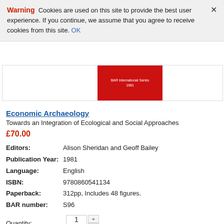Warning  Cookies are used on this site to provide the best user experience. If you continue, we assume that you agree to receive cookies from this site. OK
[Figure (other): Book cover thumbnail with red BAR International Series label]
Economic Archaeology
Towards an Integration of Ecological and Social Approaches
£70.00
| Editors: | Alison Sheridan and Geoff Bailey |
| Publication Year: | 1981 |
| Language: | English |
| ISBN: | 9780860541134 |
| Paperback: | 312pp, Includes 48 figures. |
| BAR number: | S96 |
Quantity: 1
ADD TO CART